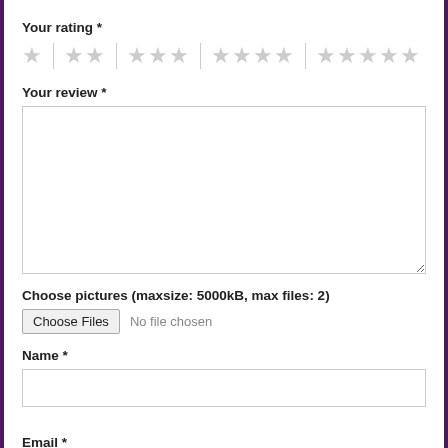Your rating *
[Figure (other): Star rating selector with 5 groups: 1 star, 2 stars, 3 stars, 4 stars, 5 stars, all shown in light grey (unselected)]
Your review *
[Figure (other): Empty text area input box for review]
Choose pictures (maxsize: 5000kB, max files: 2)
[Figure (other): File input: Choose Files button and 'No file chosen' text]
Name *
[Figure (other): Empty text input box for name]
Email *